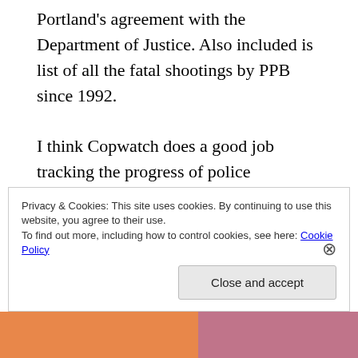Portland's agreement with the Department of Justice. Also included is list of all the fatal shootings by PPB since 1992.

I think Copwatch does a good job tracking the progress of police accountability. Not all of what they share is as technical as comments on directives, but it's all important and worth following. Some can make a strong case that the entire system of policing is broken, but if you're an advocate for reform, Copwatch is worth
Privacy & Cookies: This site uses cookies. By continuing to use this website, you agree to their use.
To find out more, including how to control cookies, see here: Cookie Policy

Close and accept